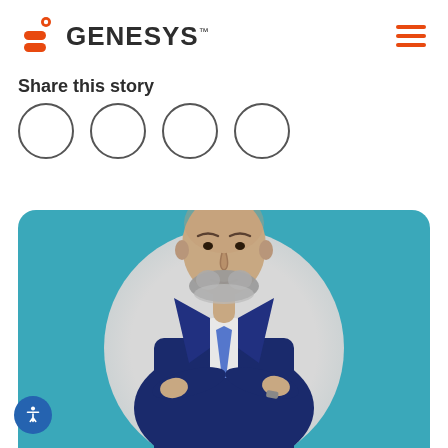Genesys logo and navigation
Share this story
[Figure (other): Four circular social share buttons arranged horizontally]
[Figure (photo): Professional headshot of a bald man with a grey beard, wearing a navy blue suit with arms crossed, set against a teal/blue rounded card background with a light circular backdrop]